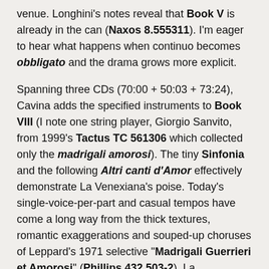venue. Longhini's notes reveal that Book V is already in the can (Naxos 8.555311). I'm eager to hear what happens when continuo becomes obbligato and the drama grows more explicit.
Spanning three CDs (70:00 + 50:03 + 73:24), Cavina adds the specified instruments to Book VIII (I note one string player, Giorgio Sanvito, from 1999's Tactus TC 561306 which collected only the madrigali amorosi). The tiny Sinfonia and the following Altri canti d'Amor effectively demonstrate La Venexiana's poise. Today's single-voice-per-part and casual tempos have come a long way from the thick textures, romantic exaggerations and souped-up choruses of Leppard's 1971 selective "Madrigali Guerrieri et Amorosi" (Phillips 432 503-2). La Venexiana's continuo (harp, theorbo, harpsichord) never overwhelm. Strings in the Ballo delle Ingrate's entrata play in a stately fashion.